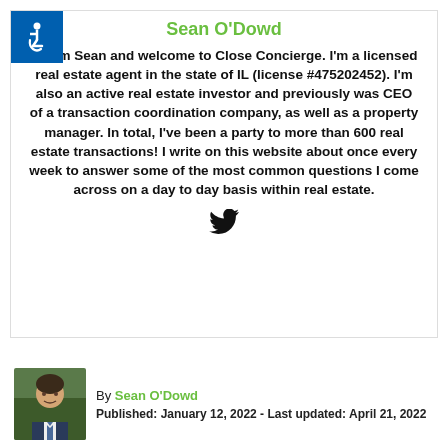Sean O'Dowd
Hi, I'm Sean and welcome to Close Concierge. I'm a licensed real estate agent in the state of IL (license #475202452). I'm also an active real estate investor and previously was CEO of a transaction coordination company, as well as a property manager. In total, I've been a party to more than 600 real estate transactions! I write on this website about once every week to answer some of the most common questions I come across on a day to day basis within real estate.
[Figure (logo): Twitter bird icon]
By Sean O'Dowd
Published: January 12, 2022 - Last updated: April 21, 2022